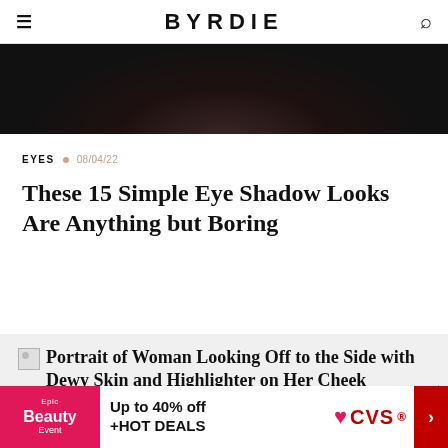BYRDIE
[Figure (photo): Partial top portion of a photo showing a person with dark hair, closely cropped]
EYES  08/04/22
These 15 Simple Eye Shadow Looks Are Anything but Boring
[Figure (photo): Portrait of Woman Looking Off to the Side with Dewy Skin and Highlighter on Her Cheek — image placeholder visible]
Portrait of Woman Looking Off to the Side with Dewy Skin and Highlighter on Her Cheek
Ad
Epic Beauty Event  Up to 40% off +HOT DEALS  CVS